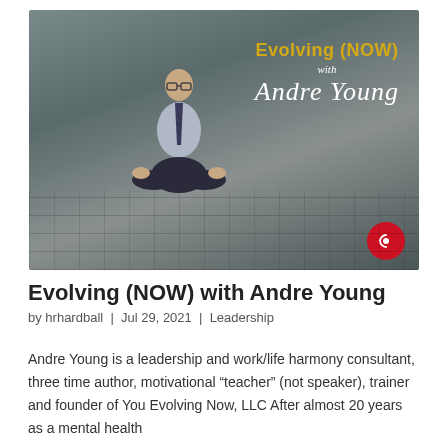[Figure (photo): Podcast cover image showing a man in business attire sitting cross-legged in a meditation pose on a cobblestone floor against a gray concrete wall. Text overlay reads 'Evolving (NOW) with Andre Young' in gold and white script. A red circular logo appears in the bottom right corner.]
Evolving (NOW) with Andre Young
by hrhardball  |  Jul 29, 2021  |  Leadership
Andre Young is a leadership and work/life harmony consultant, three time author, motivational "teacher" (not speaker), trainer and founder of You Evolving Now, LLC After almost 20 years as a mental health